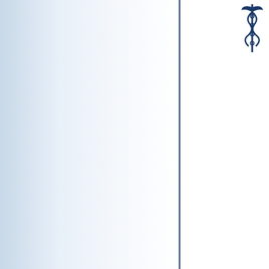[Figure (logo): Document page with two-panel layout: left panel has a light blue-to-white gradient background; a vertical dark blue divider line separates it from the right white panel. The right panel shows a partial logo with a caduceus medical symbol, text reading 'proveedor' vertically, italic script text 'Desde 1...' and a gold ribbon/banner decoration.]